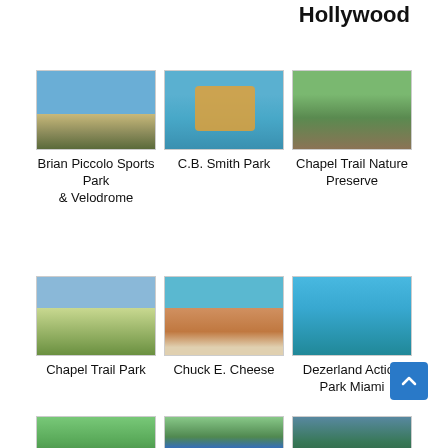Hollywood
[Figure (photo): Outdoor sports park with field and sky]
Brian Piccolo Sports Park & Velodrome
[Figure (photo): Water park with colorful play structures]
C.B. Smith Park
[Figure (photo): Wooden boardwalk through nature preserve]
Chapel Trail Nature Preserve
[Figure (photo): Open grass field at Chapel Trail Park]
Chapel Trail Park
[Figure (photo): Chuck E. Cheese building exterior with palm trees]
Chuck E. Cheese
[Figure (photo): Indoor action park with blue floor and people]
Dezerland Action Park Miami
[Figure (photo): Nature scene with water]
[Figure (photo): Lake with greenery]
[Figure (photo): Trees and nature]